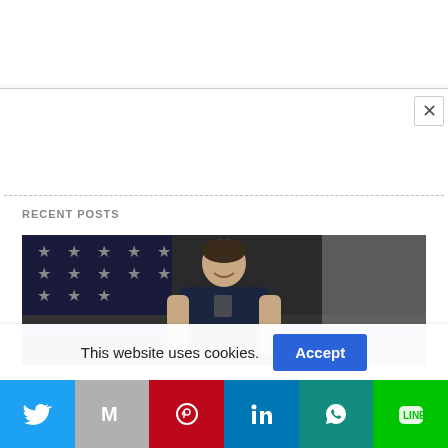RECENT POSTS
[Figure (photo): Female police officer in navy blue uniform standing in front of a thin blue line American flag (black, white, and blue)]
This website uses cookies.
[Figure (infographic): Social share bar with Twitter, Gmail, Pinterest, LinkedIn, WhatsApp, and LINE buttons]